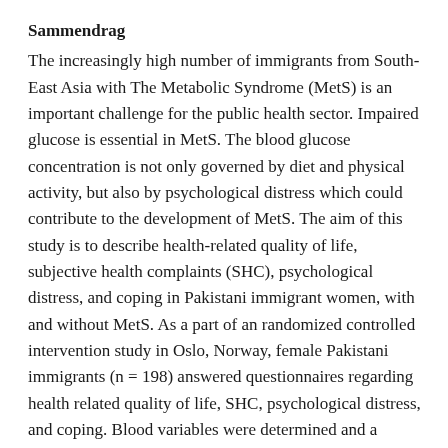Sammendrag
The increasingly high number of immigrants from South-East Asia with The Metabolic Syndrome (MetS) is an important challenge for the public health sector. Impaired glucose is essential in MetS. The blood glucose concentration is not only governed by diet and physical activity, but also by psychological distress which could contribute to the development of MetS. The aim of this study is to describe health-related quality of life, subjective health complaints (SHC), psychological distress, and coping in Pakistani immigrant women, with and without MetS. As a part of an randomized controlled intervention study in Oslo, Norway, female Pakistani immigrants (n = 198) answered questionnaires regarding health related quality of life, SHC, psychological distress, and coping. Blood variables were determined and a standardized oral glucose tolerance test was performed. The participants had a high score on SHC and psychological distress. About 40% of the participants